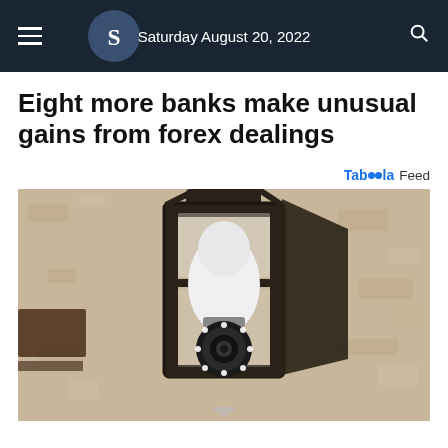Saturday August 20, 2022
Eight more banks make unusual gains from forex dealings
Taboola Feed
[Figure (photo): A lantern-style outdoor wall light fixture with a security camera bulb installed inside it, mounted on a textured beige stone wall. The camera has LEDs visible at its base.]